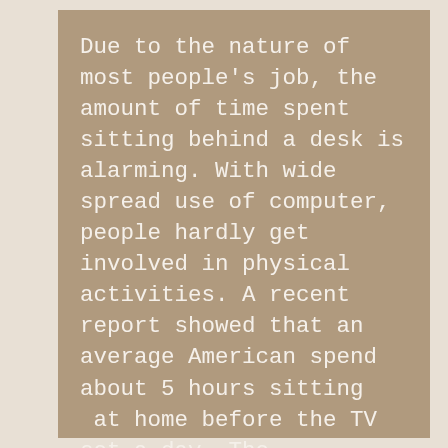Due to the nature of most people's job, the amount of time spent sitting behind a desk is alarming. With wide spread use of computer, people hardly get involved in physical activities. A recent report showed that an average American spend about 5 hours sitting  at home before the TV set a day. The widespread use of technology has altered the social life of most people. An average American prefers to go on social media and chat than actually meeting a friend in person. Breaking this kind of habit and adopting more active lifestyle is essential for anyone that desire to burn fat and stay fit. So, you need to get off the sofa and